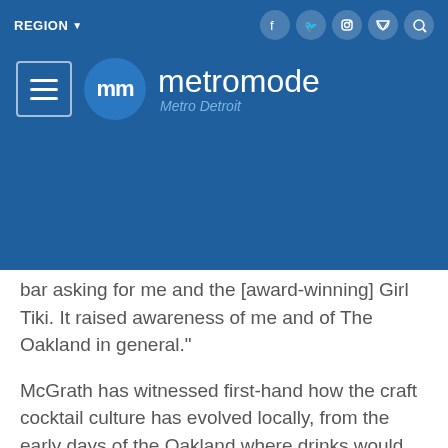REGION ▼  [social icons: facebook, twitter, instagram, rss, search]
[Figure (logo): Metromode Metro Detroit logo with hamburger menu icon and circular mm emblem]
bar asking for me and the [award-winning] Girl Tiki. It raised awareness of me and of The Oakland in general."
McGrath has witnessed first-hand how the craft cocktail culture has evolved locally, from the early days of the Oakland where drinks would take 15-20 minutes to now when they have perfected the balance of high volume and high quality.
He also says consumers are also more educated and bar owners are realizing that they're drinking differently now. "It happened with food first, and